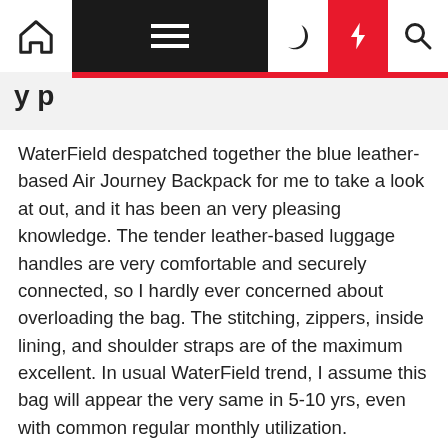[navigation bar with home, menu, moon, bolt, search icons]
y p
WaterField despatched together the blue leather-based Air Journey Backpack for me to take a look at out, and it has been an very pleasing knowledge. The tender leather-based luggage handles are very comfortable and securely connected, so I hardly ever concerned about overloading the bag. The stitching, zippers, inside lining, and shoulder straps are of the maximum excellent. In usual WaterField trend, I assume this bag will appear the very same in 5-10 yrs, even with common regular monthly utilization.
The compartments are optimized for fantastic placement for shorter enterprise visits, and as anyone who would make most of my visits in three-5 times, it can be crystal clear this bag was designed